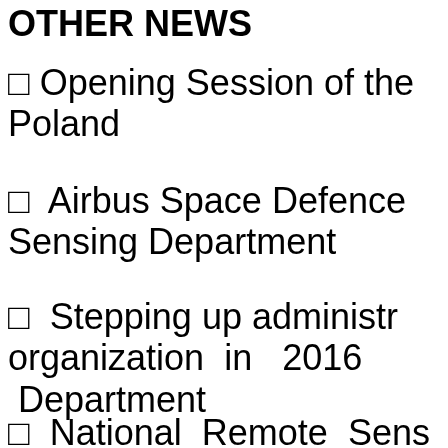OTHER NEWS
Opening Session of the Poland
Airbus Space Defence Sensing Department
Stepping up administr organization in 2016 Department
National Remote Sens